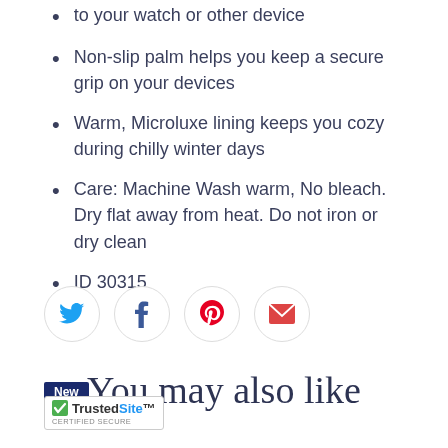to your watch or other device
Non-slip palm helps you keep a secure grip on your devices
Warm, Microluxe lining keeps you cozy during chilly winter days
Care: Machine Wash warm, No bleach. Dry flat away from heat. Do not iron or dry clean
ID 30315
[Figure (other): Social sharing icons: Twitter, Facebook, Pinterest, Email — each in a circular bordered button]
You may also like
[Figure (photo): Product photos of winter gloves with New badge and TrustedSite certified secure badge]